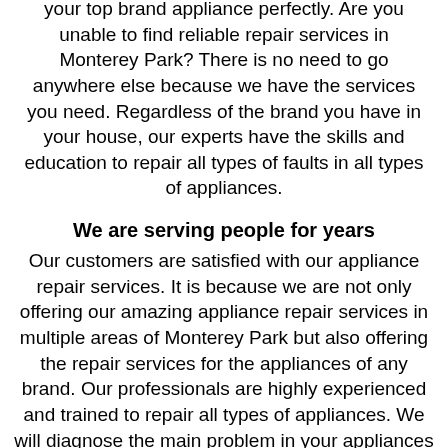your top brand appliance perfectly. Are you unable to find reliable repair services in Monterey Park? There is no need to go anywhere else because we have the services you need. Regardless of the brand you have in your house, our experts have the skills and education to repair all types of faults in all types of appliances.
We are serving people for years
Our customers are satisfied with our appliance repair services. It is because we are not only offering our amazing appliance repair services in multiple areas of Monterey Park but also offering the repair services for the appliances of any brand. Our professionals are highly experienced and trained to repair all types of appliances. We will diagnose the main problem in your appliances and repair it quickly to assure that your device will work as good as new.